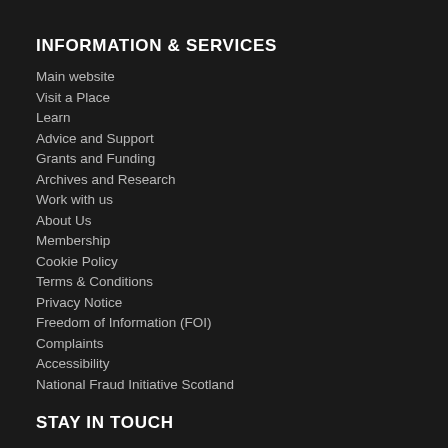INFORMATION & SERVICES
Main website
Visit a Place
Learn
Advice and Support
Grants and Funding
Archives and Research
Work with us
About Us
Membership
Cookie Policy
Terms & Conditions
Privacy Notice
Freedom of Information (FOI)
Complaints
Accessibility
National Fraud Initiative Scotland
STAY IN TOUCH